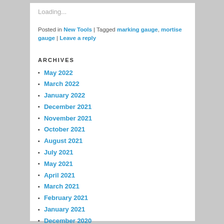Loading...
Posted in New Tools | Tagged marking gauge, mortise gauge | Leave a reply
ARCHIVES
May 2022
March 2022
January 2022
December 2021
November 2021
October 2021
August 2021
July 2021
May 2021
April 2021
March 2021
February 2021
January 2021
December 2020